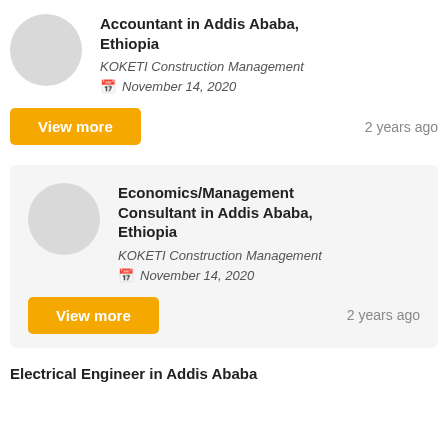Accountant in Addis Ababa, Ethiopia
KOKETI Construction Management
November 14, 2020
View more
2 years ago
Economics/Management Consultant in Addis Ababa, Ethiopia
KOKETI Construction Management
November 14, 2020
View more
2 years ago
Electrical Engineer in Addis Ababa